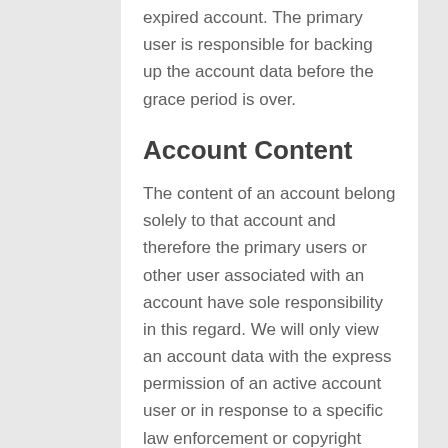expired account. The primary user is responsible for backing up the account data before the grace period is over.
Account Content
The content of an account belong solely to that account and therefore the primary users or other user associated with an account have sole responsibility in this regard. We will only view an account data with the express permission of an active account user or in response to a specific law enforcement or copyright complaint. If these guarantees are not sufficient, this